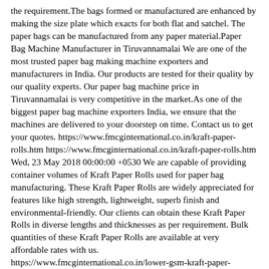the requirement.The bags formed or manufactured are enhanced by making the size plate which exacts for both flat and satchel. The paper bags can be manufactured from any paper material.Paper Bag Machine Manufacturer in Tiruvannamalai We are one of the most trusted paper bag making machine exporters and manufacturers in India. Our products are tested for their quality by our quality experts. Our paper bag machine price in Tiruvannamalai is very competitive in the market.As one of the biggest paper bag machine exporters India, we ensure that the machines are delivered to your doorstep on time. Contact us to get your quotes. https://www.fmcginternational.co.in/kraft-paper-rolls.htm https://www.fmcginternational.co.in/kraft-paper-rolls.htm Wed, 23 May 2018 00:00:00 +0530 We are capable of providing container volumes of Kraft Paper Rolls used for paper bag manufacturing. These Kraft Paper Rolls are widely appreciated for features like high strength, lightweight, superb finish and environmental-friendly. Our clients can obtain these Kraft Paper Rolls in diverse lengths and thicknesses as per requirement. Bulk quantities of these Kraft Paper Rolls are available at very affordable rates with us. https://www.fmcginternational.co.in/lower-gsm-kraft-paper-rolls.htm https://www.fmcginternational.co.in/lower-gsm-kraft-paper-rolls.htm Wed, 23 May 2018 00:00:00 +0530 Payment for consignments can be carried out through offline or online modes, as per convenience of the clients. We assure you any method that is